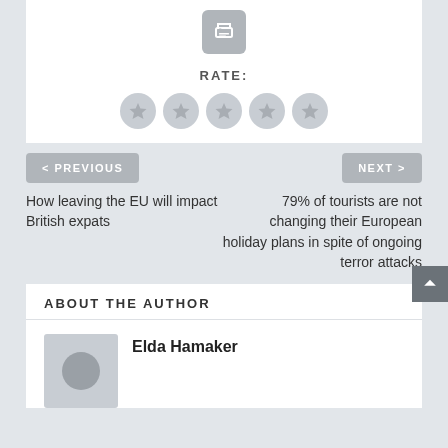[Figure (other): Print button icon — a gray rounded square with a printer icon in white]
RATE:
[Figure (other): Five gray circular star rating buttons in a row]
< PREVIOUS
How leaving the EU will impact British expats
NEXT >
79% of tourists are not changing their European holiday plans in spite of ongoing terror attacks
ABOUT THE AUTHOR
Elda Hamaker